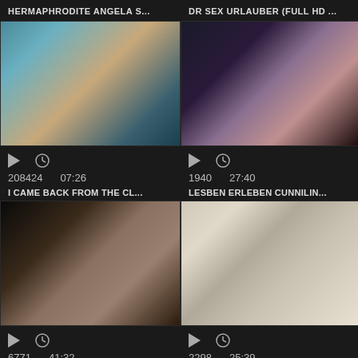HERMAPHRODITE ANGELA S...
DR SEX URLAUBER (FULL HD ...
[Figure (photo): Video thumbnail showing adult content]
[Figure (photo): Video thumbnail showing adult content]
208424  07:26
1940  27:40
I CAME BACK FROM THE CL...
LESBEN ERLEBEN CUNNILIN...
[Figure (photo): Video thumbnail showing adult content]
[Figure (photo): Video thumbnail showing adult content]
6771  41:32
2298  25:39